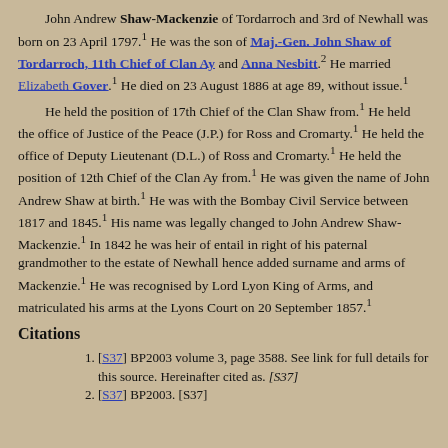John Andrew Shaw-Mackenzie of Tordarroch and 3rd of Newhall was born on 23 April 1797.[1] He was the son of Maj.-Gen. John Shaw of Tordarroch, 11th Chief of Clan Ay and Anna Nesbitt.[2] He married Elizabeth Gover.[1] He died on 23 August 1886 at age 89, without issue.[1]
He held the position of 17th Chief of the Clan Shaw from.[1] He held the office of Justice of the Peace (J.P.) for Ross and Cromarty.[1] He held the office of Deputy Lieutenant (D.L.) of Ross and Cromarty.[1] He held the position of 12th Chief of the Clan Ay from.[1] He was given the name of John Andrew Shaw at birth.[1] He was with the Bombay Civil Service between 1817 and 1845.[1] His name was legally changed to John Andrew Shaw-Mackenzie.[1] In 1842 he was heir of entail in right of his paternal grandmother to the estate of Newhall hence added surname and arms of Mackenzie.[1] He was recognised by Lord Lyon King of Arms, and matriculated his arms at the Lyons Court on 20 September 1857.[1]
Citations
1. [S37] BP2003 volume 3, page 3588. See link for full details for this source. Hereinafter cited as. [S37]
2. [S37] BP2003. [S37]